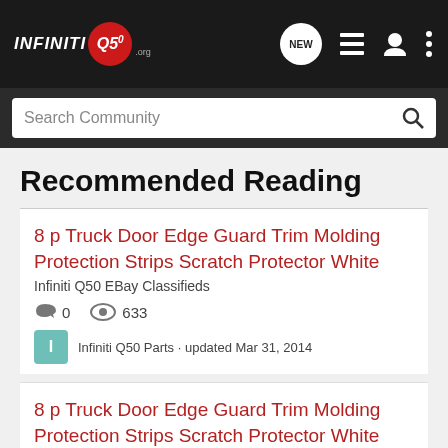INFINITI Q50 .org — navigation header with NEW, list, user, and menu icons
Search Community
Recommended Reading
8 p Truck Door Edge Guard Trim Molding Protection Strips Scratch Protector White
Infiniti Q50 EBay Classifieds
0 comments · 633 views
Infiniti Q50 Parts · updated Mar 31, 2014
8 p Truck Door Edge Guard Trim Molding Protection Strips Scratch Protector White
Infiniti Q50 EBay Classifieds